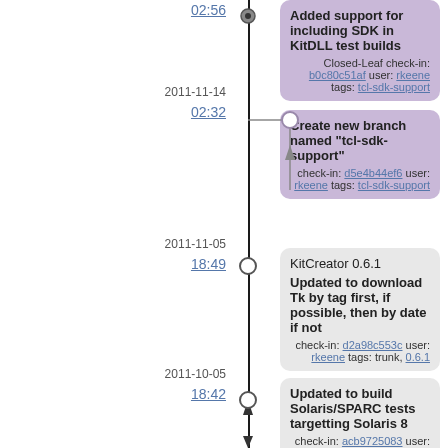02:56
Added support for including SDK in KitDLL test builds. Closed-Leaf check-in: b0c80c51af user: rkeene tags: tcl-sdk-support
2011-11-14
02:32
Create new branch named "tcl-sdk-support". check-in: d5e4b44ef6 user: rkeene tags: tcl-sdk-support
2011-11-05
18:49
KitCreator 0.6.1. Updated to download Tk by tag first, if possible, then by date if not. check-in: d2a98c553c user: rkeene tags: trunk, 0.6.1
2011-10-05
18:42
Updated to build Solaris/SPARC tests targetting Solaris 8. check-in: acb9725083 user: rkeene tags: trunk